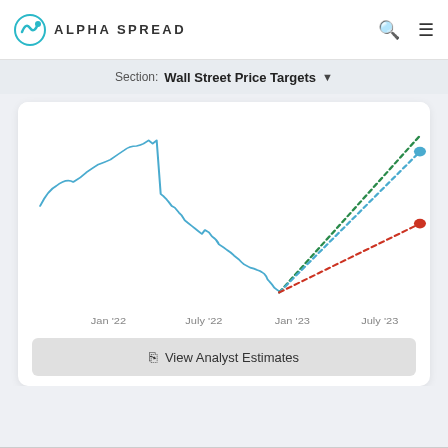Alpha Spread
Section: Wall Street Price Targets
[Figure (line-chart): Line chart showing stock price history from early 2021 through mid-2022 (solid blue line), with dotted projection lines extending to July 2023: a green dotted line (high target), a blue dotted line (average target), and a red dotted line (low target). X-axis labels: Jan '22, July '22, Jan '23, July '23.]
View Analyst Estimates